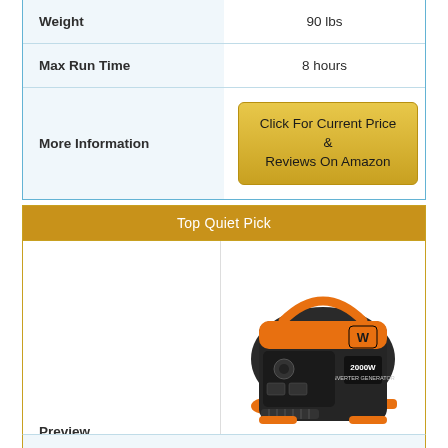|  |  |
| --- | --- |
| Weight | 90 lbs |
| Max Run Time | 8 hours |
| More Information | Click For Current Price & Reviews On Amazon |
Top Quiet Pick
| Preview |  |
| --- | --- |
| Preview | [WEN 2000W Inverter Generator product image] |